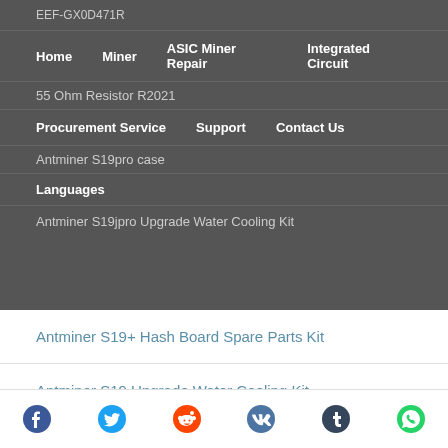EEF-GX0D471R
Home  Miner  ASIC Miner Repair  Integrated Circuit
55 Ohm Resistor R2021
Procurement Service  Support  Contact Us
Antminer S19pro case
Languages
Antminer S19jpro Upgrade Water Cooling Kit
Antminer S19+ Hash Board Spare Parts Kit
Antminer S19 Upgrade Water Cooling Kit
Antminer silencer air outlet
47 50V SMD Capacitor
330uf 30V SMD Capacitor
Antminer S19j case
[Figure (infographic): Shopping cart icon with orange badge showing 0]
[Figure (infographic): User/account icon]
[Figure (infographic): WhatsApp icon]
Social share icons: Facebook, Twitter, Reddit, VK, Tumblr, WhatsApp